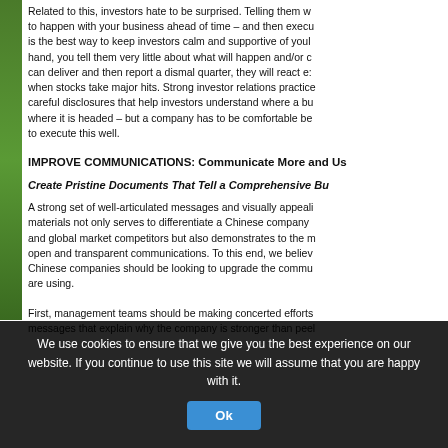Related to this, investors hate to be surprised. Telling them what is going to happen with your business ahead of time – and then executing on that – is the best way to keep investors calm and supportive of your stock. On the other hand, you tell them very little about what will happen and/or over-promise what you can deliver and then report a dismal quarter, they will react extremely negatively when stocks take major hits. Strong investor relations practices include thoughtful, careful disclosures that help investors understand where a business is today and where it is headed – but a company has to be comfortable being open and able to execute this well.
IMPROVE COMMUNICATIONS: Communicate More and Use Better Tools
Create Pristine Documents That Tell a Comprehensive Business Story
A strong set of well-articulated messages and visually appealing investor materials not only serves to differentiate a Chinese company from its domestic and global market competitors but also demonstrates to the market a culture of open and transparent communications. To this end, we believe that all public Chinese companies should be looking to upgrade the communications tools they are using.
First, management teams should be making concerted efforts to create key messages that explain why the company is stronger than peers...
We use cookies to ensure that we give you the best experience on our website. If you continue to use this site we will assume that you are happy with it.